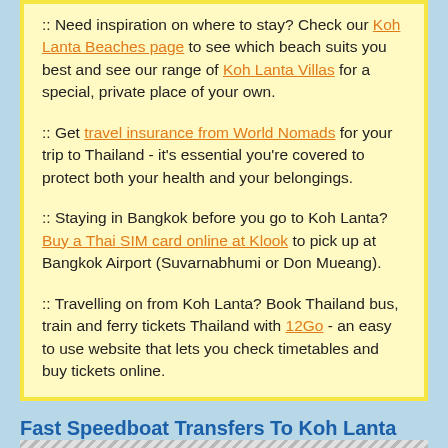:: Need inspiration on where to stay? Check our Koh Lanta Beaches page to see which beach suits you best and see our range of Koh Lanta Villas for a special, private place of your own.
:: Get travel insurance from World Nomads for your trip to Thailand - it's essential you're covered to protect both your health and your belongings.
:: Staying in Bangkok before you go to Koh Lanta? Buy a Thai SIM card online at Klook to pick up at Bangkok Airport (Suvarnabhumi or Don Mueang).
:: Travelling on from Koh Lanta? Book Thailand bus, train and ferry tickets Thailand with 12Go - an easy to use website that lets you check timetables and buy tickets online.
Fast Speedboat Transfers To Koh Lanta